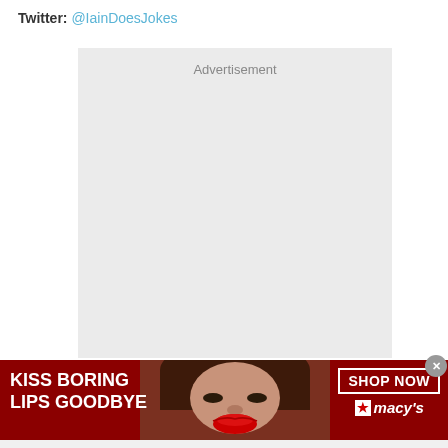Twitter: @IainDoesJokes
[Figure (other): Gray advertisement placeholder box with 'Advertisement' text label at top center]
[Figure (other): Macy's banner advertisement with red background showing woman with red lips, text 'KISS BORING LIPS GOODBYE', 'SHOP NOW' button, and Macy's star logo. Close button (x) in top right corner.]